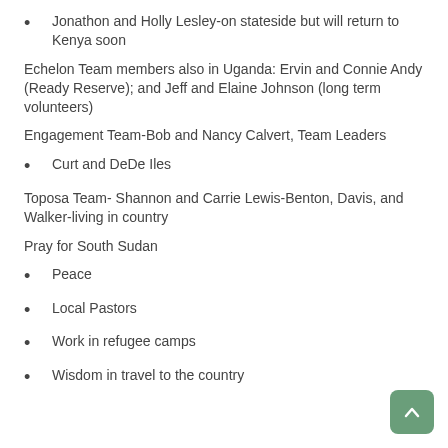Jonathon and Holly Lesley-on stateside but will return to Kenya soon
Echelon Team members also in Uganda: Ervin and Connie Andy (Ready Reserve); and Jeff and Elaine Johnson (long term volunteers)
Engagement Team-Bob and Nancy Calvert, Team Leaders
Curt and DeDe Iles
Toposa Team- Shannon and Carrie Lewis-Benton, Davis, and Walker-living in country
Pray for South Sudan
Peace
Local Pastors
Work in refugee camps
Wisdom in travel to the country